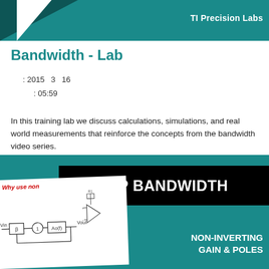TI Precision Labs
Bandwidth - Lab
: 2015  3  16
: 05:59
In this training lab we discuss calculations, simulations, and real world measurements that reinforce the concepts from the bandwidth video series.
[Figure (screenshot): OP AMP BANDWIDTH video thumbnail showing NON-INVERTING GAIN & POLES text on teal background with circuit diagram overlay and 'Why use non' text in red]